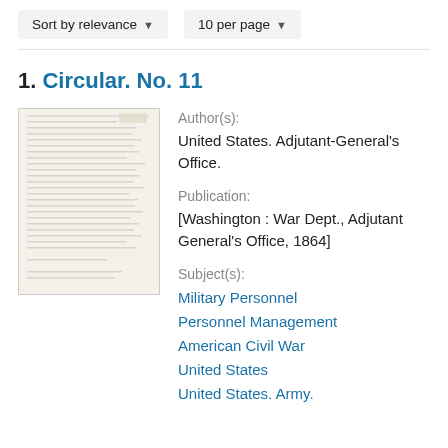Sort by relevance   10 per page
1. Circular. No. 11
[Figure (photo): Thumbnail image of a typewritten document page]
Author(s):
United States. Adjutant-General's Office.
Publication:
[Washington : War Dept., Adjutant General's Office, 1864]
Subject(s):
Military Personnel
Personnel Management
American Civil War
United States
United States. Army.